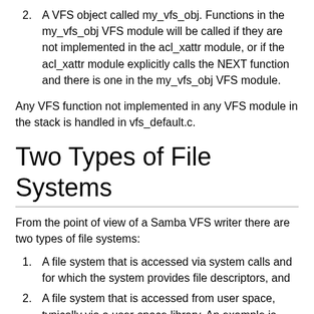2. A VFS object called my_vfs_obj. Functions in the my_vfs_obj VFS module will be called if they are not implemented in the acl_xattr module, or if the acl_xattr module explicitly calls the NEXT function and there is one in the my_vfs_obj VFS module.
Any VFS function not implemented in any VFS module in the stack is handled in vfs_default.c.
Two Types of File Systems
From the point of view of a Samba VFS writer there are two types of file systems:
1. A file system that is accessed via system calls and for which the system provides file descriptors, and
2. A file system that is accessed from user space, typically via a user-space library. An example is Ceph when accessed via libceph. It should be noted that a FUSE file system is not a user-space file system from the point of